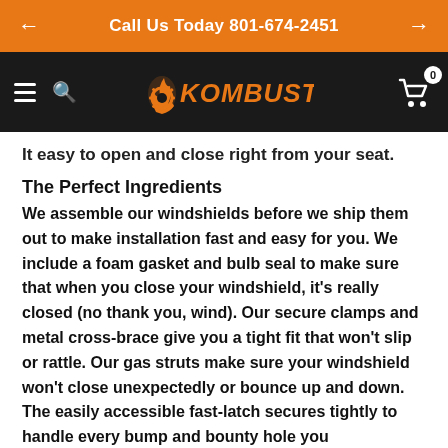← Call Us Today 801-674-2451 →
[Figure (logo): Kombustion logo in orange on black navigation bar with hamburger menu and search icon on left, shopping cart with 0 badge on right]
It easy to open and close right from your seat.
The Perfect Ingredients
We assemble our windshields before we ship them out to make installation fast and easy for you. We include a foam gasket and bulb seal to make sure that when you close your windshield, it's really closed (no thank you, wind). Our secure clamps and metal cross-brace give you a tight fit that won't slip or rattle. Our gas struts make sure your windshield won't close unexpectedly or bounce up and down. The easily accessible fast-latch secures tightly to handle every bump and bounty hole you